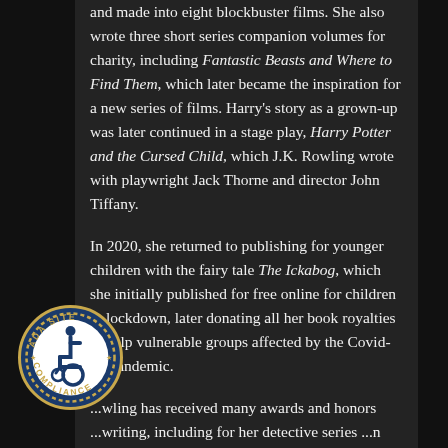and made into eight blockbuster films. She also wrote three short series companion volumes for charity, including Fantastic Beasts and Where to Find Them, which later became the inspiration for a new series of films. Harry's story as a grown-up was later continued in a stage play, Harry Potter and the Cursed Child, which J.K. Rowling wrote with playwright Jack Thorne and director John Tiffany.
In 2020, she returned to publishing for younger children with the fairy tale The Ickabog, which she initially published for free online for children in lockdown, later donating all her book royalties to help vulnerable groups affected by the Covid-19 pandemic.
Rowling has received many awards and honors writing, including for her detective series written under the name Robert Galbraith. She supports a wide number of humanitarian causes
[Figure (logo): ADA Site Compliance badge — circular badge with blue and gold border, wheelchair accessibility icon in center, text 'ADA SITE COMPLIANCE' around the edge]